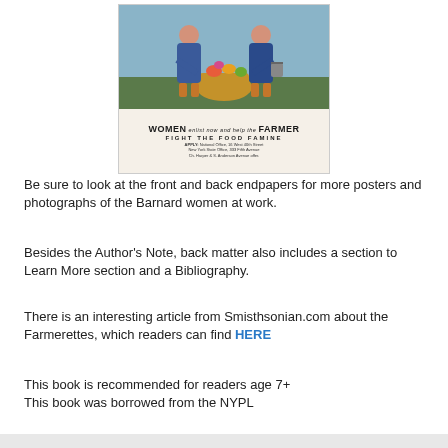[Figure (illustration): A vintage WWI-era poster showing two women in blue dresses carrying a basket of produce. Text reads: WOMEN enlist now and help the FARMER FIGHT THE FOOD FAMINE. APPLY: National Office, 16 West 40th Street, New York State Office, 333 Fifth Avenue.]
Be sure to look at the front and back endpapers for more posters and photographs of the Barnard women at work.
Besides the Author's Note, back matter also includes a section to Learn More section and a Bibliography.
There is an interesting article from Smisthsonian.com about the Farmerettes, which readers can find HERE
This book is recommended for readers age 7+
This book was borrowed from the NYPL